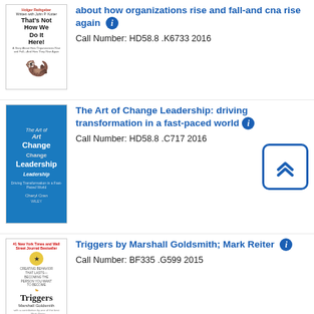[Figure (illustration): Book cover for 'That's Not How We Do It Here!' by Holger Rathgeber, featuring a meerkat illustration]
about how organizations rise and fall-and cna rise again ℹ Call Number: HD58.8 .K6733 2016
[Figure (illustration): Book cover for 'The Art of Change Leadership' by Cheryl Cran, blue cover]
The Art of Change Leadership: driving transformation in a fast-paced world ℹ Call Number: HD58.8 .C717 2016
[Figure (illustration): Book cover for 'Triggers' by Marshall Goldsmith, featuring a leopard/cheetah illustration]
Triggers by Marshall Goldsmith; Mark Reiter ℹ Call Number: BF335 .G599 2015
[Figure (illustration): Book cover for 'Organizational Behavior, Theory, and ...' partial view, olive/brown cover]
Organizational Behavior, Theory, and ...